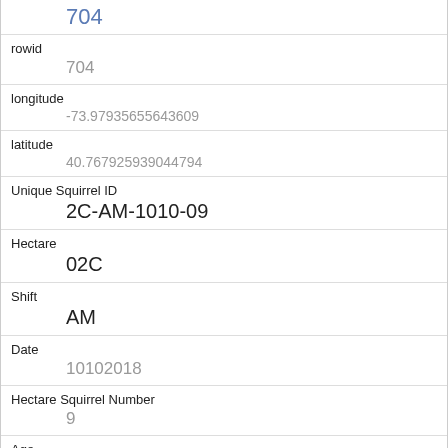704
rowid
704
longitude
-73.97935655643609
latitude
40.767925939044794
Unique Squirrel ID
2C-AM-1010-09
Hectare
02C
Shift
AM
Date
10102018
Hectare Squirrel Number
9
Age
Adult
Primary Fur Color
Grey